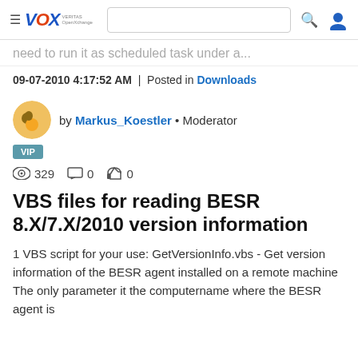VOX — Veritas OpenXchange community header with search and user icon
need to run it as scheduled task under a...
09-07-2010 4:17:52 AM  |  Posted in Downloads
by Markus_Koestler • Moderator
VIP
329  0  0
VBS files for reading BESR 8.X/7.X/2010 version information
1 VBS script for your use: GetVersionInfo.vbs - Get version information of the BESR agent installed on a remote machine The only parameter it the computername where the BESR agent is